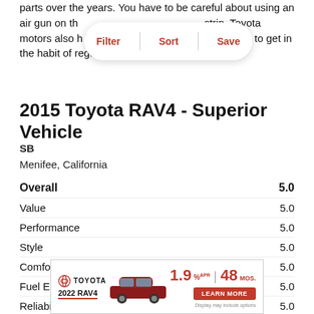parts over the years. You have to be careful about using an air gun on the strip. Toyota motors also h... you have to get in the habit of regularly checking the oil.
[Figure (screenshot): Filter | Sort | Save pill overlay menu]
2015 Toyota RAV4 - Superior Vehicle
SB
Menifee, California
| Category | Score |
| --- | --- |
| Overall | 5.0 |
| Value | 5.0 |
| Performance | 5.0 |
| Style | 5.0 |
| Comfort | 5.0 |
| Fuel Economy | 5.0 |
| Reliability | 5.0 |
[Figure (other): Toyota 2022 RAV4 advertisement banner with 1.9% APR for 48 months offer and Learn More button]